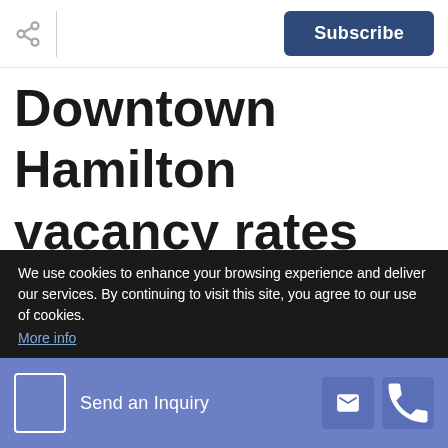Subscribe
Downtown Hamilton vacancy rates 'healthy,' jobs increasing: city
We use cookies to enhance your browsing experience and deliver our services. By continuing to visit this site, you agree to our use of cookies. More info
Send an Inquiry